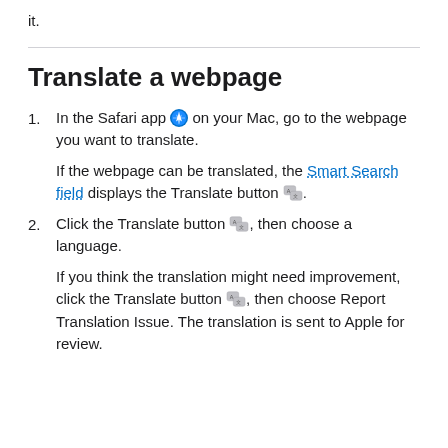it.
Translate a webpage
1. In the Safari app [icon] on your Mac, go to the webpage you want to translate.

If the webpage can be translated, the Smart Search field displays the Translate button [icon].
2. Click the Translate button [icon], then choose a language.

If you think the translation might need improvement, click the Translate button [icon], then choose Report Translation Issue. The translation is sent to Apple for review.